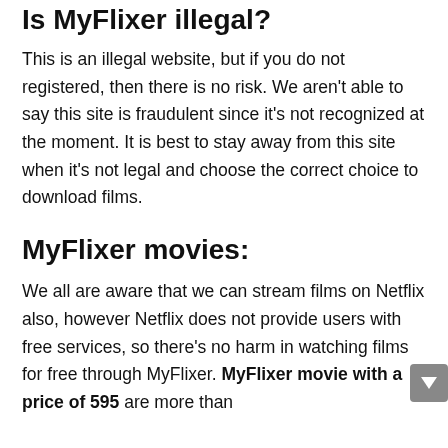Is MyFlixer illegal?
This is an illegal website, but if you do not registered, then there is no risk. We aren't able to say this site is fraudulent since it's not recognized at the moment. It is best to stay away from this site when it's not legal and choose the correct choice to download films.
MyFlixer movies:
We all are aware that we can stream films on Netflix also, however Netflix does not provide users with free services, so there's no harm in watching films for free through MyFlixer. MyFlixer movie with a price of 595 are more than